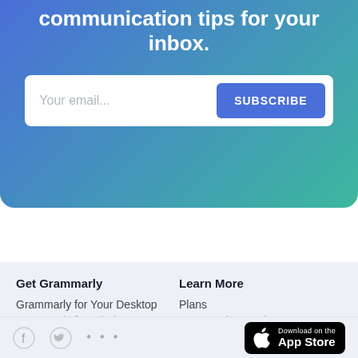communication tips for your inbox.
Your email...
SUBSCRIBE
Get Grammarly
Grammarly for Your Desktop
Grammarly for Windows
Learn More
Plans
Grammarly Premium
[Figure (logo): Facebook icon, Twitter bird icon, and three dots icon for social media links]
[Figure (screenshot): Download on the App Store button with Apple logo]